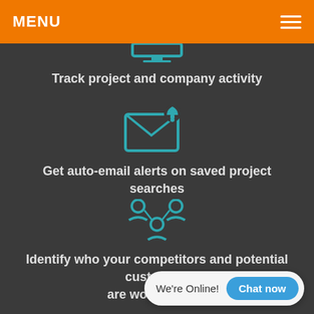MENU
[Figure (illustration): Teal monitor/screen icon at top center, partially cropped]
Track project and company activity
[Figure (illustration): Teal envelope icon with notification bell]
Get auto-email alerts on saved project searches
[Figure (illustration): Teal network/people group icon]
Identify who your competitors and potential customers are working with
We're Online!  Chat now